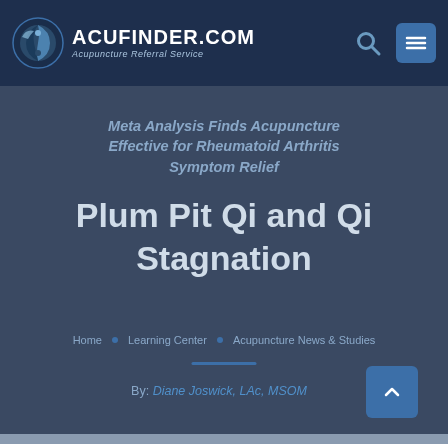ACUFINDER.COM — Acupuncture Referral Service
Meta Analysis Finds Acupuncture Effective for Rheumatoid Arthritis Symptom Relief
Plum Pit Qi and Qi Stagnation
Home • Learning Center • Acupuncture News & Studies
By: Diane Joswick, LAc, MSOM